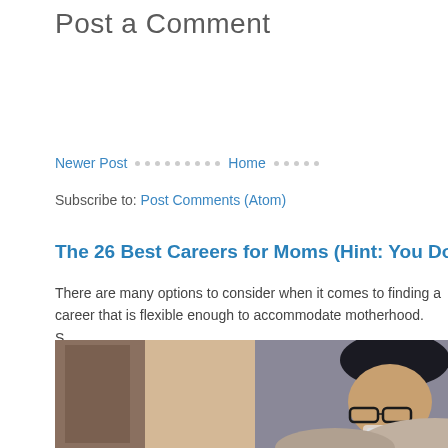Post a Comment
Newer Post · · · · · · · · · Home · · · · ·
Subscribe to: Post Comments (Atom)
The 26 Best Careers for Moms (Hint: You Don't Have to Cho...
There are many options to consider when it comes to finding a career that is flexible enough to accommodate motherhood. S...
[Figure (photo): A woman with dark hair wearing glasses, looking down, appearing to drink from a glass. Indoor setting with warm background lighting.]